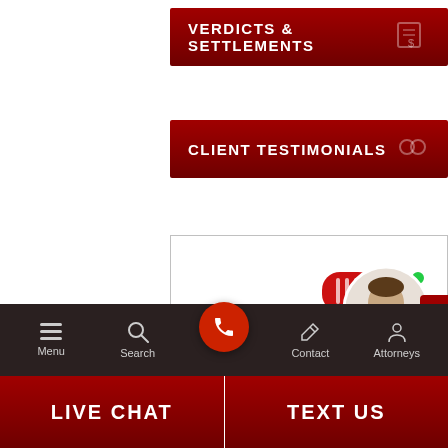VERDICTS & SETTLEMENTS
CLIENT TESTIMONIALS
REACH US
Frederick & Hagle 129 West Main Street Urbana, IL 61801
Phone: 217-367-6092
Menu
Search
Contact
Attorneys
LIVE CHAT
TEXT US
Contact Us
Online Agent